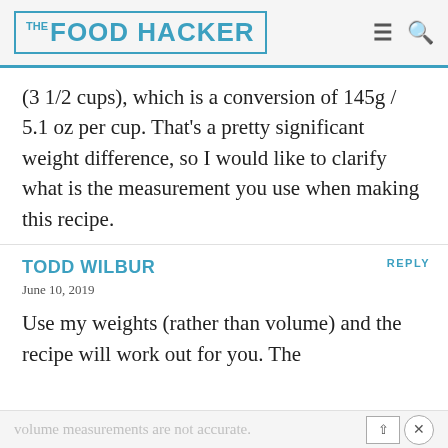THE FOOD HACKER
(3 1/2 cups), which is a conversion of 145g / 5.1 oz per cup. That's a pretty significant weight difference, so I would like to clarify what is the measurement you use when making this recipe.
REPLY
TODD WILBUR
June 10, 2019
Use my weights (rather than volume) and the recipe will work out for you. The volume measurements are not accurate.